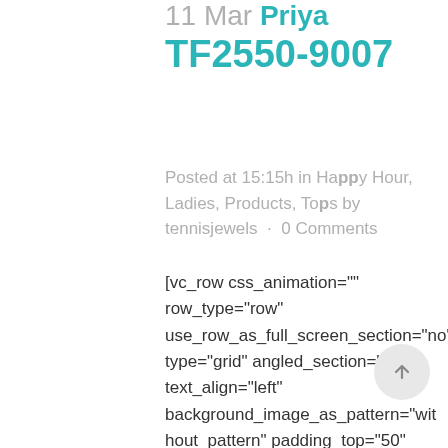11 Mar Priya TF2550-9007
Posted at 15:15h in Happy Hour, Ladies, Products, Tops by tennisjewels · 0 Comments
[vc_row css_animation="" row_type="row" use_row_as_full_screen_section="no" type="grid" angled_section="no" text_align="left" background_image_as_pattern="without_pattern" padding_top="50" css=".vc_custom_1521425318867{padding-bottom: 30px !important;}" z_index="" el_class="product-page-main-container"][vc_column